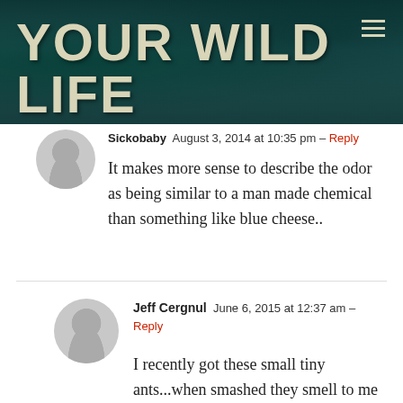Your Wild Life
Sickobaby  August 3, 2014 at 10:35 pm – Reply
It makes more sense to describe the odor as being similar to a man made chemical than something like blue cheese..
Jeff Cergnul  June 6, 2015 at 12:37 am – Reply
I recently got these small tiny ants...when smashed they smell to me like a cleaning product. Man made like you